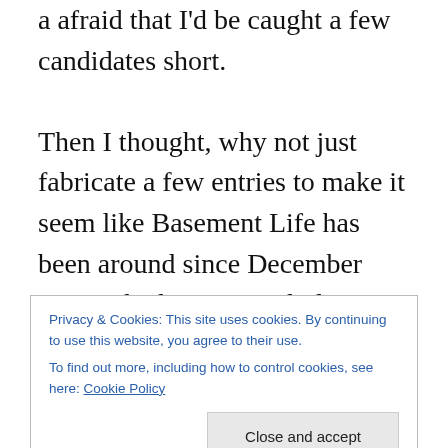a afraid that I'd be caught a few candidates short.

Then I thought, why not just fabricate a few entries to make it seem like Basement Life has been around since December 1999. I had some good ideas, too. There was going to be one where Jacquie and I went out to Rangitoto, the volcano in the harbor that's now a park with hiking trails and park rangers. Rangitoto used to be overrun with various invasive species. Then the government cracked down and shipped all the destructive buggers to Australia, which never turns away an invasive
Privacy & Cookies: This site uses cookies. By continuing to use this website, you agree to their use.
To find out more, including how to control cookies, see here: Cookie Policy
Close and accept
the islands stay pest free. Check your bags and shoes for